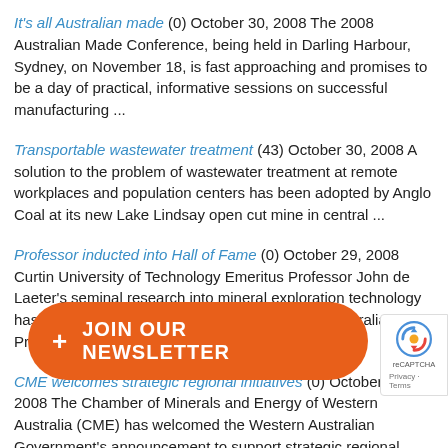It's all Australian made (0) October 30, 2008 The 2008 Australian Made Conference, being held in Darling Harbour, Sydney, on November 18, is fast approaching and promises to be a day of practical, informative sessions on successful manufacturing ...
Transportable wastewater treatment (43) October 30, 2008 A solution to the problem of wastewater treatment at remote workplaces and population centers has been adopted by Anglo Coal at its new Lake Lindsay open cut mine in central ...
Professor inducted into Hall of Fame (0) October 29, 2008 Curtin University of Technology Emeritus Professor John de Laeter's seminal research into mineral exploration technology has been recognised with his induction into the Australian Prospectors and Miners Hall of Fame.
CME welcomes strategic regional initiatives (0) October 29, 2008 The Chamber of Minerals and Energy of Western Australia (CME) has welcomed the Western Australian Government's announcement to support strategic regional based projects to develop Western Australia, in its submission ...
Fortescue tries to bridge troubled water (0) October 29, 2008 The decision to declare the Robe River, Hamersley and Goldsworthy rail lines open for third party access has the potential to create a Dalrymple Bay in the Pilbara, Minerals Council ...
Y... 08 Polaris Metals ha... th the Esperance P... ntify the requiremen... (operating and capital costs) for exporting ore ...
A contracted fairytale (0) October 29, 2008 Civil and mining contractor...
[Figure (other): Orange rounded rectangle button with plus sign and text JOIN OUR NEWSLETTER]
[Figure (other): Google reCAPTCHA badge with logo and Privacy Terms text]